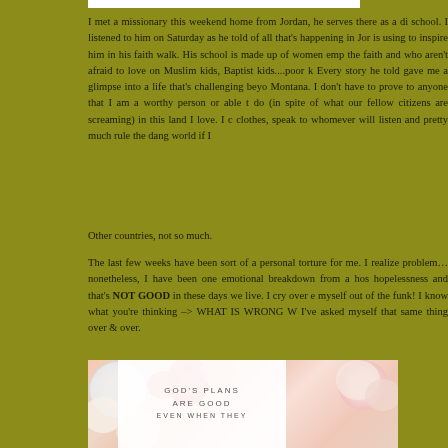I met a missionary this weekend home from Jordan, he serves there as a d... school. I listened to him on Saturday as he told of all that's happening in Jor... is using to inspire him in his faith walk. His school is made up of women emp... the faith and who aren't afraid to love on Muslim kids, Baptist kids....poor k... Every story he told gave me a glimpse into a life that's challenging beyo... Montana. I don't have to prove to anyone that I am a worthy person or able t... do (in spite of what our fellow citizens are screaming) in this land I love. I c... clothes, speak to whomever will listen and pretty much rule the dang world if I...
Other countries, not so much.
The last few weeks have been sort of a personal torture for me. I realize... problem...nonetheless, I have been one emotional breakdown from a hos... hopelessness and that's NOT GOOD in these days we live. I cry over e... myself out of the funk! I know what you're thinking –> WHAT IS WRONG W... I've asked myself that same thing over & over.
[Figure (photo): A photo of flowers (white, pink, orange blooms) with a white overlay card reading 'GOD'S PLANS ARE GOOD EVEN WHEN THEY']